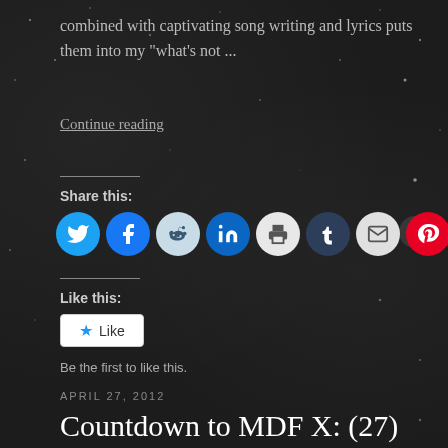combined with captivating song writing and lyrics puts them into my "what's not ...
Continue reading
Share this:
[Figure (infographic): Social share buttons: Twitter (blue), Facebook (blue), Reddit (light blue), LinkedIn (dark blue), Print (light gray), Tumblr (dark navy), Email (light gray), Pinterest (red)]
Like this:
[Figure (infographic): Like button widget with star icon]
Be the first to like this.
APRIL 27, 2012
Countdown to MDF X: (27) Morbid Saint